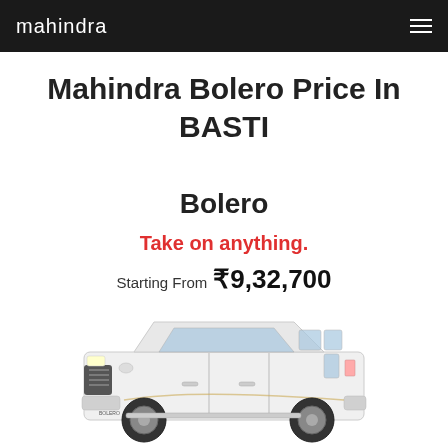mahindra
Mahindra Bolero Price In BASTI
Bolero
Take on anything.
Starting From ₹9,32,700
[Figure (photo): White Mahindra Bolero SUV side view]